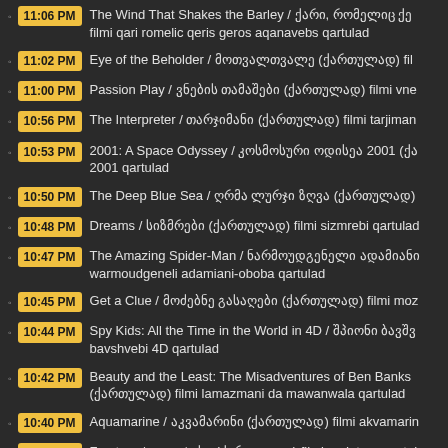11:06 PM The Wind That Shakes the Barley / ქარი, რომელიც ქეხის გეროს aqanavebs qartulad filmi qari romelic qeris geros aqanavebs qartulad
11:02 PM Eye of the Beholder / მოთვალთვალე (ქართულად) fil...
11:00 PM Passion Play / ვნების თამაშები (ქართულად) filmi vne...
10:56 PM The Interpreter / თარჯიმანი (ქართულად) filmi tarjiman...
10:53 PM 2001: A Space Odyssey / კოსმოსური ოდისეა 2001 (ქ... 2001 qartulad
10:50 PM The Deep Blue Sea / ღრმა ლურჯი ზღვა (ქართულად)
10:48 PM Dreams / სიზმრები (ქართულად) filmi sizmrebi qartulad
10:47 PM The Amazing Spider-Man / ნარმოუდგენელი ადამიანი... warmoudgeneli adamiani-oboba qartulad
10:45 PM Get a Clue / მოძებნე გასაღები (ქართულად) filmi moz...
10:44 PM Spy Kids: All the Time in the World in 4D / შპიონი ბავშვ... bavshvebi 4D qartulad
10:42 PM Beauty and the Least: The Misadventures of Ben Banks (ქართულად) filmi lamazmani da mawanwala qartulad
10:40 PM Aquamarine / აკვამარინი (ქართულად) filmi akvamarin...
10:38 PM Fracture / გადატეხა (ქართულად) filmi gadatexa qartul...
9:55 PM Drive Angry / ლოცვრი მძომა (ქართულად) filmi...